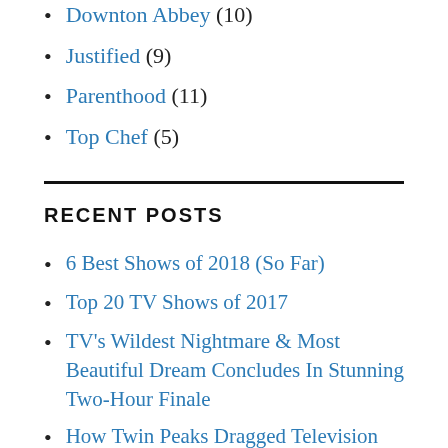Downton Abbey (10)
Justified (9)
Parenthood (11)
Top Chef (5)
RECENT POSTS
6 Best Shows of 2018 (So Far)
Top 20 TV Shows of 2017
TV's Wildest Nightmare & Most Beautiful Dream Concludes In Stunning Two-Hour Finale
How Twin Peaks Dragged Television Convention Into the Heart of a Nuclear Blast,